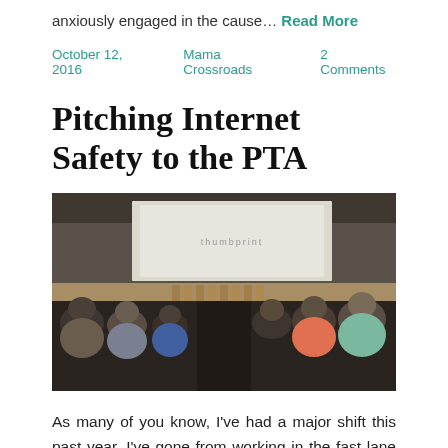anxiously engaged in the cause… Read More
October 12, 2016   Mama Crossroads   2 Comments
Pitching Internet Safety to the PTA
[Figure (photo): Audience seated in an auditorium/lecture hall viewed from behind, facing a large projection screen displaying the word 'thumbprint']
As many of you know, I've had a major shift this past year. I've gone from working in the fast lane in the Movement to End Sexual Exploitation, in the thick of things on Capitol Hill and at the United Nations … back